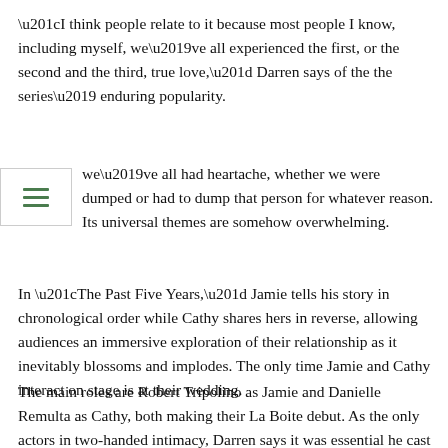“I think people relate to it because most people I know, including myself, we’ve all experienced the first, or the second and the third, true love,” Darren says of the the series’ enduring popularity.
we’ve all had heartache, whether we were dumped or had to dump that person for whatever reason. Its universal themes are somehow overwhelming.
In “The Past Five Years,” Jamie tells his story in chronological order while Cathy shares hers in reverse, allowing audiences an immersive exploration of their relationship as it inevitably blossoms and implodes. The only time Jamie and Cathy interact on stage is at their wedding.
The main roles are Robert Tripolino as Jamie and Danielle Remulta as Cathy, both making their La Boite debut. As the only actors in two-handed intimacy, Darren says it was essential he cast two actors who shared the right chemistry to convey the joy and despair of